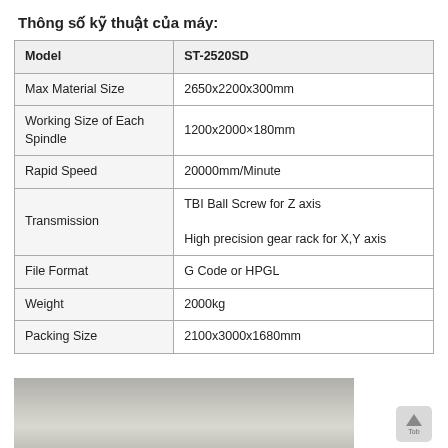Thông số kỹ thuật của máy:
| Model | ST-2520SD |
| --- | --- |
| Max Material Size | 2650x2200x300mm |
| Working Size of Each Spindle | 1200x2000×180mm |
| Rapid Speed | 20000mm/Minute |
| Transmission | TBI Ball Screw for Z axis
High precision gear rack for X,Y axis |
| File Format | G Code or HPGL |
| Weight | 2000kg |
| Packing Size | 2100x3000x1680mm |
[Figure (photo): Partial photo of the ST-2520SD CNC machine showing a light-colored flat surface/bed, visible at bottom of page.]